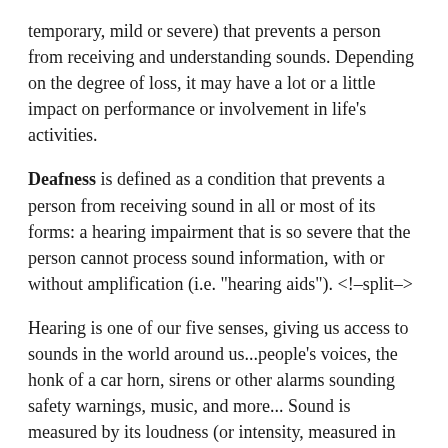temporary, mild or severe) that prevents a person from receiving and understanding sounds. Depending on the degree of loss, it may have a lot or a little impact on performance or involvement in life's activities.
Deafness is defined as a condition that prevents a person from receiving sound in all or most of its forms: a hearing impairment that is so severe that the person cannot process sound information, with or without amplification (i.e. "hearing aids"). <!--split–>
Hearing is one of our five senses, giving us access to sounds in the world around us...people's voices, the honk of a car horn, sirens or other alarms sounding safety warnings, music, and more... Sound is measured by its loudness (or intensity, measured in units called decibels or dB) and is frequency (or pitch, measured in units called hertz or Hz. Impairments in hearing may occur in either or both of these areas, and may exist in only one ear or in both ears.